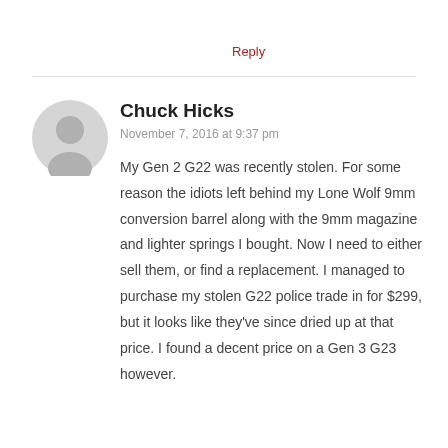Reply
Chuck Hicks
November 7, 2016 at 9:37 pm
My Gen 2 G22 was recently stolen. For some reason the idiots left behind my Lone Wolf 9mm conversion barrel along with the 9mm magazine and lighter springs I bought. Now I need to either sell them, or find a replacement. I managed to purchase my stolen G22 police trade in for $299, but it looks like they've since dried up at that price. I found a decent price on a Gen 3 G23 however.